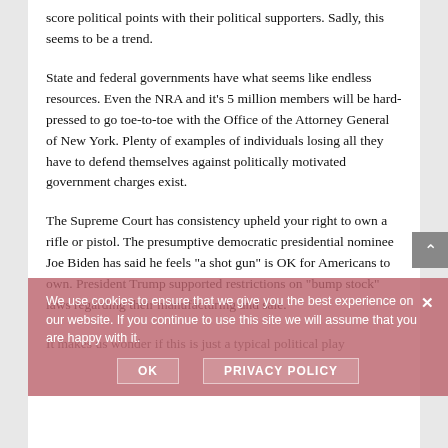score political points with their political supporters. Sadly, this seems to be a trend.
State and federal governments have what seems like endless resources. Even the NRA and it’s 5 million members will be hard-pressed to go toe-to-toe with the Office of the Attorney General of New York. Plenty of examples of individuals losing all they have to defend themselves against politically motivated government charges exist.
The Supreme Court has consistency upheld your right to own a rifle or pistol. The presumptive democratic presidential nominee Joe Biden has said he feels “a shot gun” is OK for Americans to own. President Trump supported restrictions on “bump stock” laws regarding their manufacturing and sale.
It makes us wonder if this is just a typical political play...